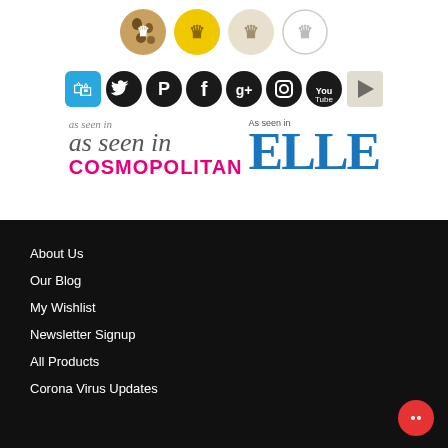[Figure (illustration): Row of four circular product/accessory icons with animal print and beige/white color variants]
[Figure (illustration): Row of social media icons: App Store (blue square), Twitter, Pinterest, Facebook, Google+, Instagram, YouTube (black circles), and Google Play (grey square)]
[Figure (illustration): As seen in Cosmopolitan logo (pink/magenta) and As seen in ELLE logo (blue)]
About Us
Our Blog
My Wishlist
Newsletter Signup
All Products
Corona Virus Updates